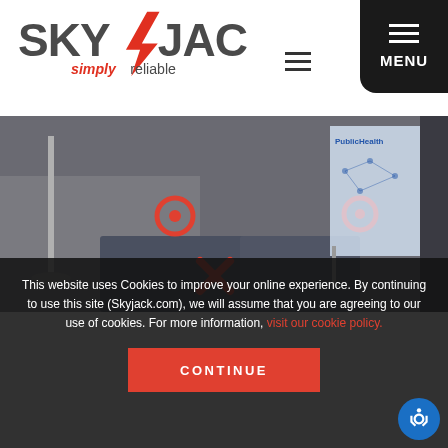[Figure (logo): Skyjack logo with tagline 'simply reliable']
[Figure (photo): Indoor facility floor with orange social distancing markers (circles and X), a stanchion pole, carpet mats, and a Public Health banner in the background]
This website uses Cookies to improve your online experience. By continuing to use this site (Skyjack.com), we will assume that you are agreeing to our use of cookies. For more information, visit our cookie policy.
[Figure (other): CONTINUE button — red/orange rectangle with white bold text]